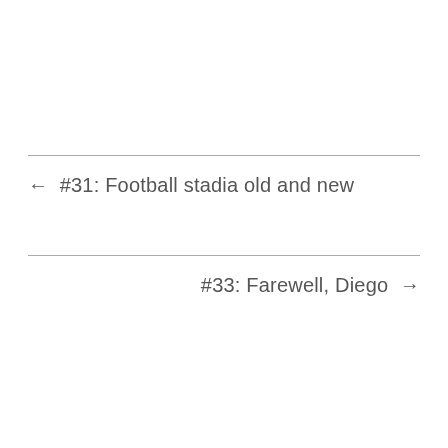← #31: Football stadia old and new
#33: Farewell, Diego →